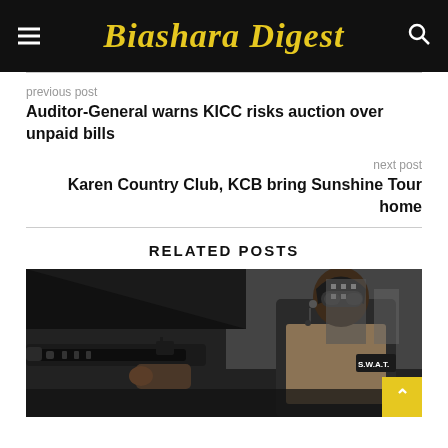Biashara Digest
previous post
Auditor-General warns KICC risks auction over unpaid bills
next post
Karen Country Club, KCB bring Sunshine Tour home
RELATED POSTS
[Figure (photo): A SWAT officer in tactical gear with helmet and goggles, holding a firearm, photographed from inside a vehicle]